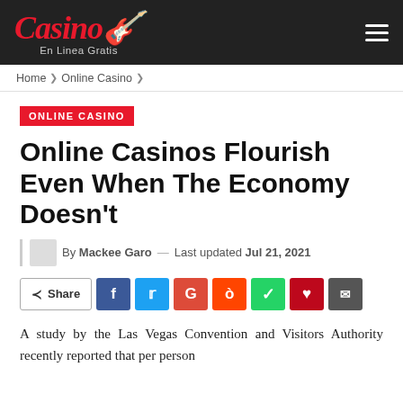Casino En Linea Gratis
Home > Online Casino >
ONLINE CASINO
Online Casinos Flourish Even When The Economy Doesn't
By Mackee Garo — Last updated Jul 21, 2021
Share (Facebook, Twitter, Google, Reddit, WhatsApp, Pinterest, Email)
A study by the Las Vegas Convention and Visitors Authority recently reported that per person